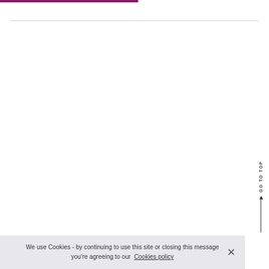GO TO TOP
We use Cookies - by continuing to use this site or closing this message you're agreeing to our Cookies policy